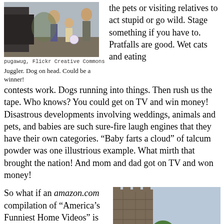[Figure (photo): Outdoor scene with people, juggler with dog on head]
pugawug, Flickr Creative Commons
Juggler. Dog on head. Could be a winner!
the pets or visiting relatives to act stupid or go wild. Stage something if you have to. Pratfalls are good. Wet cats and eating contests work. Dogs running into things. Then rush us the tape. Who knows? You could get on TV and win money! Disastrous developments involving weddings, animals and pets, and babies are such sure-fire laugh engines that they have their own categories. “Baby farts a cloud” of talcum powder was one illustrious example. What mirth that brought the nation! And mom and dad got on TV and won money!
So what if an amazon.com compilation of “America’s Funniest Home Videos” is entitled, “Nincompoops and Boneheads.” We weren't getting on TV and winning money being Ma and Pa Homeowner alone.
[Figure (photo): Outdoor scene with stone fortress, cannons, green lawn, and a person bending over a cannon]